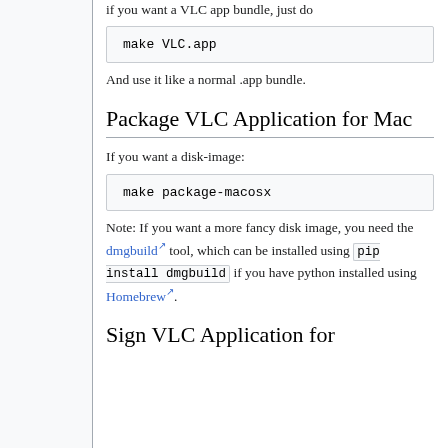if you want a VLC app bundle, just do
And use it like a normal .app bundle.
Package VLC Application for Mac
If you want a disk-image:
Note: If you want a more fancy disk image, you need the dmgbuild tool, which can be installed using pip install dmgbuild if you have python installed using Homebrew.
Sign VLC Application for